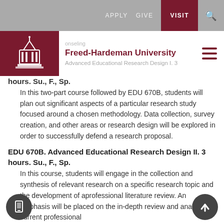[Figure (screenshot): Freed-Hardeman University website navigation bar with APPLY, GIVE, VISIT (highlighted in dark red), and search icon on grey background]
[Figure (logo): Freed-Hardeman University logo with white building/dome icon on dark red background, with university name and subtitle 'Advanced Educational Research Design I. 3']
hours. Su., F., Sp.
In this two-part course followed by EDU 670B, students will plan out significant aspects of a particular research study focused around a chosen methodology. Data collection, survey creation, and other areas or research design will be explored in order to successfully defend a research proposal.
EDU 670B. Advanced Educational Research Design II. 3 hours. Su., F., Sp.
In this course, students will engage in the collection and synthesis of relevant research on a specific research topic and the development of aprofessional literature review. An emphasis will be placed on the in-depth review and analysis of current professional